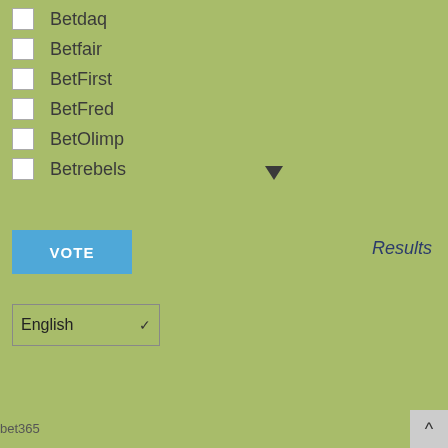Betdaq
Betfair
BetFirst
BetFred
BetOlimp
Betrebels
VOTE
Results
English
bet365